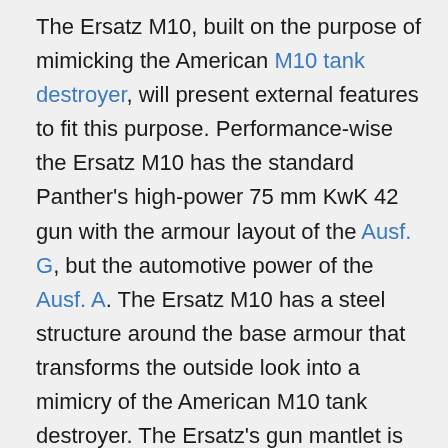The Ersatz M10, built on the purpose of mimicking the American M10 tank destroyer, will present external features to fit this purpose. Performance-wise the Ersatz M10 has the standard Panther's high-power 75 mm KwK 42 gun with the armour layout of the Ausf. G, but the automotive power of the Ausf. A. The Ersatz M10 has a steel structure around the base armour that transforms the outside look into a mimicry of the American M10 tank destroyer. The Ersatz's gun mantlet is curved shape like on the Panther A and D instead of the "chin" version on the Ausf. G. One of the customizable camouflage "Ersatz M10 Panther" is extremely sly by adding American markings on the tank without the usage of decal slots, with a white star and circle on the front hull, turret sides, and roof, as well as miscellaneous unit marking of the US 5th Armored